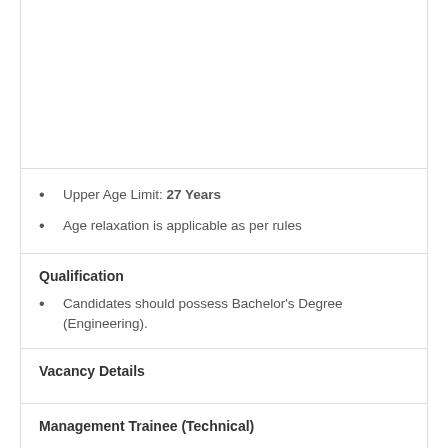Upper Age Limit: 27 Years
Age relaxation is applicable as per rules
Qualification
Candidates should possess Bachelor's Degree (Engineering).
Vacancy Details
Management Trainee (Technical)
| Sl | Discipline | Total |
| --- | --- | --- |